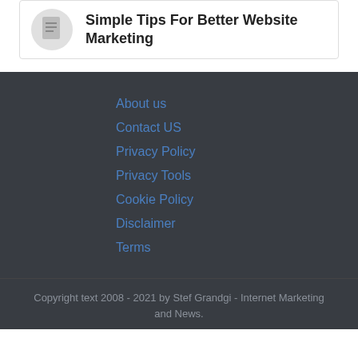Simple Tips For Better Website Marketing
About us
Contact US
Privacy Policy
Privacy Tools
Cookie Policy
Disclaimer
Terms
Copyright text 2008 - 2021 by Stef Grandgi - Internet Marketing and News.